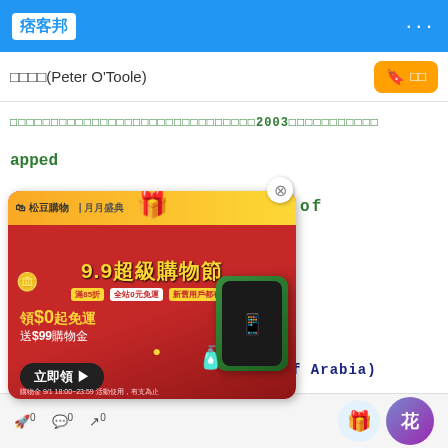痞客邦  ...
搜尋結果：彼得奧圖(Peter O'Toole)  收藏  訂閱
台灣首映比美國晚了將近一個月，上映於2003年，彼得奧圖在這部電影中扮演...
...apped
Day They Robbed the Bank of
B...
[Figure (other): Advertisement overlay for 9.9 Super Shopping Festival (9.9超級購物節) with red background, yellow gift box, iPhone image, free shipping offer (領$0起免運), and $99 shopping voucher (送$99購物金). Has close button and call-to-action button (立即領).]
(The Savage Innocents)
1962 彼得奧圖主演 (Lawrence of Arabia) (Lawrence of Arabia)台灣上映的電影名稱是阿拉伯的勞倫斯
0 comments 0 shares 0  [gift] [flower]